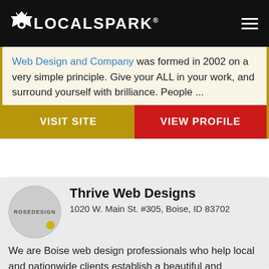LOCALSPARK
Web Design and Company was formed in 2002 on a very simple principle. Give your ALL in your work, and surround yourself with brilliance. People ...
VISIT SITE
VIEW PROFILE
Thrive Web Designs
1020 W. Main St. #305, Boise, ID 83702
We are Boise web design professionals who help local and nationwide clients establish a beautiful and effective online